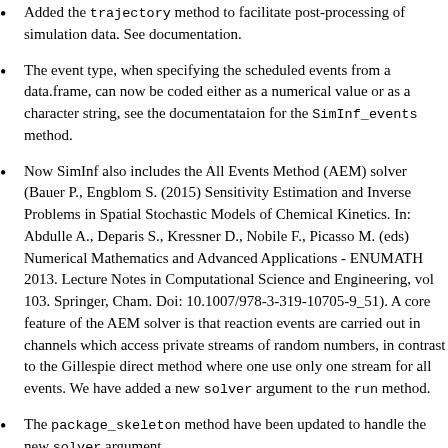Added the trajectory method to facilitate post-processing of simulation data. See documentation.
The event type, when specifying the scheduled events from a data.frame, can now be coded either as a numerical value or as a character string, see the documentataion for the SimInf_events method.
Now SimInf also includes the All Events Method (AEM) solver (Bauer P., Engblom S. (2015) Sensitivity Estimation and Inverse Problems in Spatial Stochastic Models of Chemical Kinetics. In: Abdulle A., Deparis S., Kressner D., Nobile F., Picasso M. (eds) Numerical Mathematics and Advanced Applications - ENUMATH 2013. Lecture Notes in Computational Science and Engineering, vol 103. Springer, Cham. Doi: 10.1007/978-3-319-10705-9_51). A core feature of the AEM solver is that reaction events are carried out in channels which access private streams of random numbers, in contrast to the Gillespie direct method where one use only one stream for all events. We have added a new solver argument to the run method.
The package_skeleton method have been updated to handle the new solver argument.
The event type, when specifying the scheduled events from a